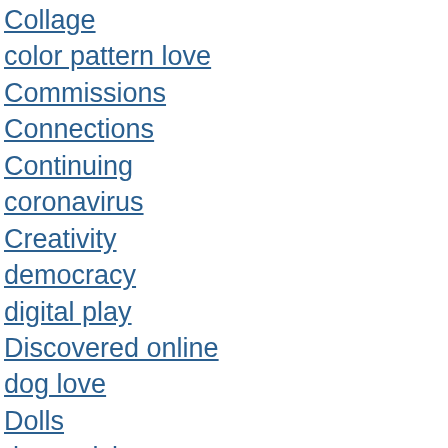Collage
color pattern love
Commissions
Connections
Continuing
coronavirus
Creativity
democracy
digital play
Discovered online
dog love
Dolls
domesticity
Dye
indigo
Entertainment (mostly TV)
Etsy / For Sale
every day life